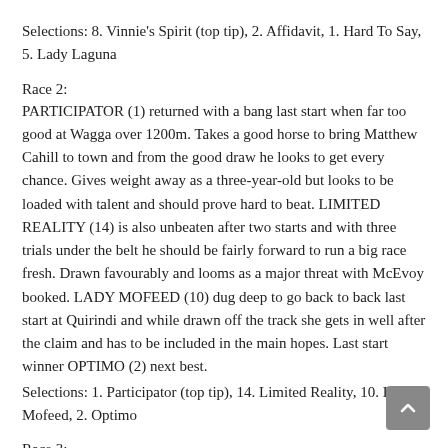Selections: 8. Vinnie's Spirit (top tip), 2. Affidavit, 1. Hard To Say, 5. Lady Laguna
Race 2:
PARTICIPATOR (1) returned with a bang last start when far too good at Wagga over 1200m. Takes a good horse to bring Matthew Cahill to town and from the good draw he looks to get every chance. Gives weight away as a three-year-old but looks to be loaded with talent and should prove hard to beat. LIMITED REALITY (14) is also unbeaten after two starts and with three trials under the belt he should be fairly forward to run a big race fresh. Drawn favourably and looms as a major threat with McEvoy booked. LADY MOFEED (10) dug deep to go back to back last start at Quirindi and while drawn off the track she gets in well after the claim and has to be included in the main hopes. Last start winner OPTIMO (2) next best.
Selections: 1. Participator (top tip), 14. Limited Reality, 10. Lady Mofeed, 2. Optimo
Race 3:
REBEL RAMA (4) caught the eye late last start behind So United